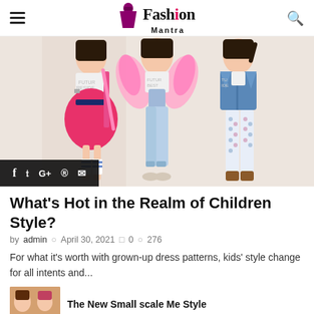Fashion Mantra
[Figure (photo): Three young girls posing in stylish outfits: left wears a pink skirt with white t-shirt and striped socks, center wears denim overalls with pink feathered wings, right wears a denim jacket with patterned leggings.]
What's Hot in the Realm of Children Style?
by admin  April 30, 2021   0   276
For what it's worth with grown-up dress patterns, kids' style change for all intents and...
The New Small scale Me Style